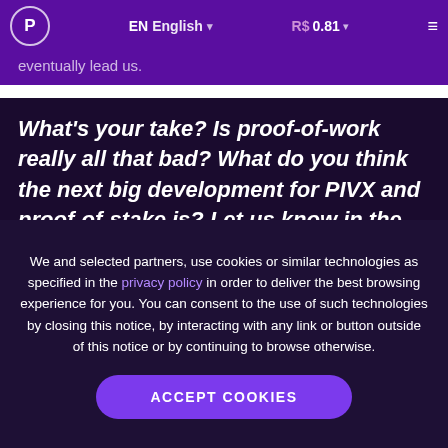EN English  R$ 0.81
eventually lead us.
What's your take? Is proof-of-work really all that bad? What do you think the next big development for PIVX and proof-of-stake is? Let us know in the comments, our Discord server, or on our sub-Reddit.
We and selected partners, use cookies or similar technologies as specified in the privacy policy in order to deliver the best browsing experience for you. You can consent to the use of such technologies by closing this notice, by interacting with any link or button outside of this notice or by continuing to browse otherwise.
ACCEPT COOKIES